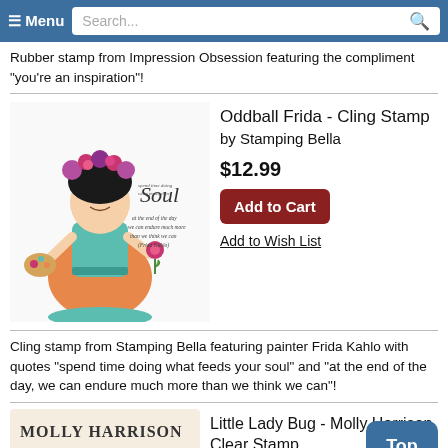≡ Menu  Search...
Rubber stamp from Impression Obsession featuring the compliment "you're an inspiration"!
[Figure (illustration): Illustrated character of Oddball Frida - a stylized Frida Kahlo figure with flower crown, holding a palette, in a teal top and orange skirt. Includes script text 'Soul' and quote 'at the end of the day we can endure much more than we think we can (Frida Kahlo)']
Oddball Frida - Cling Stamp by Stamping Bella
$12.99
Add to Cart
Add to Wish List
Cling stamp from Stamping Bella featuring painter Frida Kahlo with quotes "spend time doing what feeds your soul" and "at the end of the day, we can endure much more than we think we can"!
[Figure (logo): Molly Harrison Art logo]
Little Lady Bug - Molly Harrison Clear Stamp